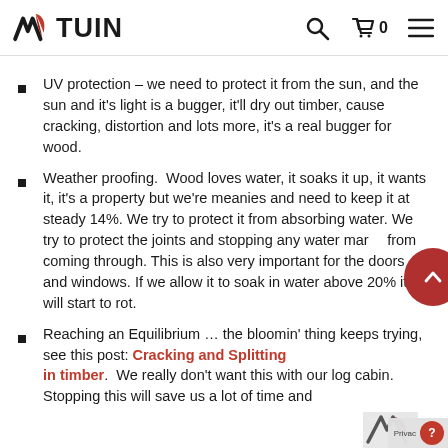TUIN — navigation header with logo, search, cart (0), and menu icons
UV protection – we need to protect it from the sun, and the sun and it's light is a bugger, it'll dry out timber, cause cracking, distortion and lots more, it's a real bugger for wood.
Weather proofing.  Wood loves water, it soaks it up, it wants it, it's a property but we're meanies and need to keep it at steady 14%. We try to protect it from absorbing water. We try to protect the joints and stopping any water marks from coming through. This is also very important for the doors and windows. If we allow it to soak in water above 20% it will start to rot.
Reaching an Equilibrium ... the bloomin' thing keeps trying, see this post: Cracking and Splitting in timber.  We really don't want this with our log cabin.  Stopping this will save us a lot of time and